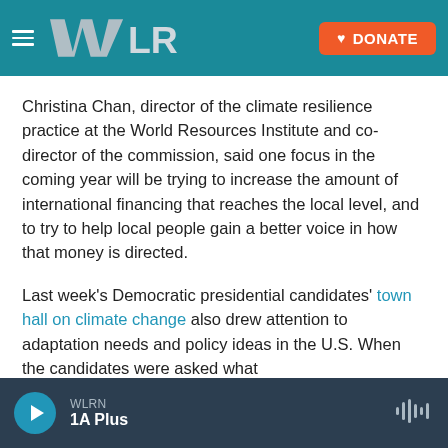WLRN — DONATE
Christina Chan, director of the climate resilience practice at the World Resources Institute and co-director of the commission, said one focus in the coming year will be trying to increase the amount of international financing that reaches the local level, and to try to help local people gain a better voice in how that money is directed.
Last week's Democratic presidential candidates' town hall on climate change also drew attention to adaptation needs and policy ideas in the U.S. When the candidates were asked what
WLRN — 1A Plus